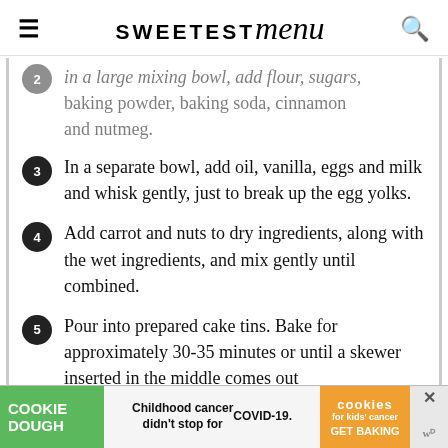SWEETEST menu
In a large mixing bowl, add flour, sugars, baking powder, baking soda, cinnamon and nutmeg.
3 - In a separate bowl, add oil, vanilla, eggs and milk and whisk gently, just to break up the egg yolks.
4 - Add carrot and nuts to dry ingredients, along with the wet ingredients, and mix gently until combined.
5 - Pour into prepared cake tins. Bake for approximately 30-35 minutes or until a skewer inserted in the middle comes out
[Figure (infographic): Cookie Dough advertisement banner: Childhood cancer didn't stop for COVID-19. GET BAKING. cookies for kids cancer.]